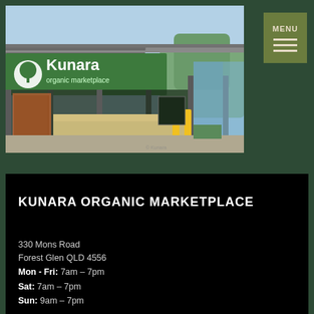[Figure (photo): Exterior photo of Kunara Organic Marketplace store with green signage, covered outdoor area, and car park]
KUNARA ORGANIC MARKETPLACE
330 Mons Road
Forest Glen QLD 4556
Mon - Fri: 7am – 7pm
Sat: 7am – 7pm
Sun: 9am – 7pm